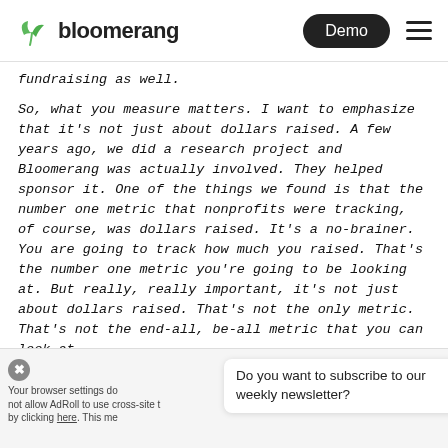bloomerang | Demo
fundraising as well.
So, what you measure matters. I want to emphasize that it's not just about dollars raised. A few years ago, we did a research project and Bloomerang was actually involved. They helped sponsor it. One of the things we found is that the number one metric that nonprofits were tracking, of course, was dollars raised. It's a no-brainer. You are going to track how much you raised. That's the number one metric you're going to be looking at. But really, really important, it's not just about dollars raised. That's not the only metric. That's not the end-all, be-all metric that you can look at.
Do you want to subscribe to our weekly newsletter?
Your browser settings do not allow AdRoll to use cross-site tracking by clicking here. This me